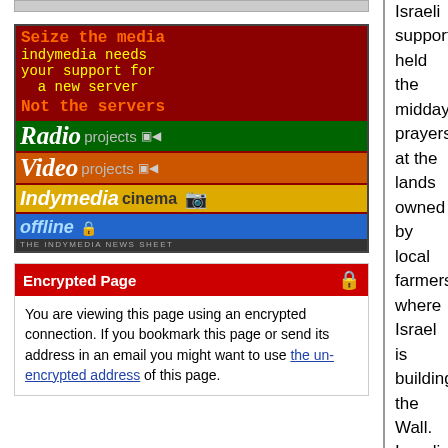[Figure (screenshot): Indymedia banner with text: Seize the media / indymedia needs / your support for / a new server / Not the servers. Followed by Radio projects, Video projects, Indymedia cinema, and offline rows. THE INDYMEDIA NEWS SHEET at bottom.]
Encrypted Page
You are viewing this page using an encrypted connection. If you bookmark this page or send its address in an email you might want to use the un-encrypted address of this page.
Israeli supporters held the midday prayers at the lands owned by local farmers where Israel is building the Wall.
Israeli Soldiers showered the protesters with tear gas and water mixed with chemicals. Scores of people suffered tear gas inhalation and nausea. At least a dozen protesters were treated for the effect of tear gas inhalation.
For IMEMC.org this is George Rishmawi.

Political report
As internal Palestinian controversy rises over the UN Goldstone report about war crimes in Gaza, the ruling Hamas party in Gaza considers conciliation talks with Fatah in Cairo on October 26th; IMEMC's Jessica Hulsey has the story:
Several Palestinian bodies called on Arab and Islamic nations to formulate a stance against what